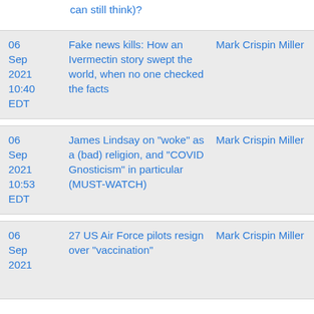can still think)?
| Date | Title | Author |
| --- | --- | --- |
| 06 Sep 2021 10:40 EDT | Fake news kills: How an Ivermectin story swept the world, when no one checked the facts | Mark Crispin Miller |
| 06 Sep 2021 10:53 EDT | James Lindsay on "woke" as a (bad) religion, and "COVID Gnosticism" in particular (MUST-WATCH) | Mark Crispin Miller |
| 06 Sep 2021 | 27 US Air Force pilots resign over "vaccination" | Mark Crispin Miller |